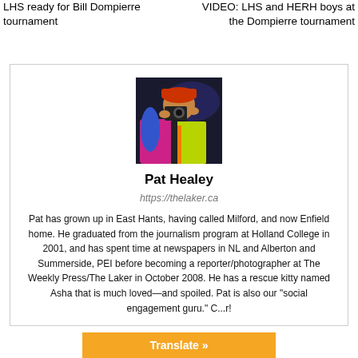LHS ready for Bill Dompierre tournament    VIDEO: LHS and HERH boys at the Dompierre tournament
[Figure (photo): Photo of Pat Healey, a person wearing a high-visibility vest and a cap, holding a camera close to their face, photographing at an event with dark/blue background.]
Pat Healey
https://thelaker.ca
Pat has grown up in East Hants, having called Milford, and now Enfield home. He graduated from the journalism program at Holland College in 2001, and has spent time at newspapers in NL and Alberton and Summerside, PEI before becoming a reporter/photographer at The Weekly Press/The Laker in October 2008. He has a rescue kitty named Asha that is much loved—and spoiled. Pat is also our "social engagement guru." C...r!
Translate »